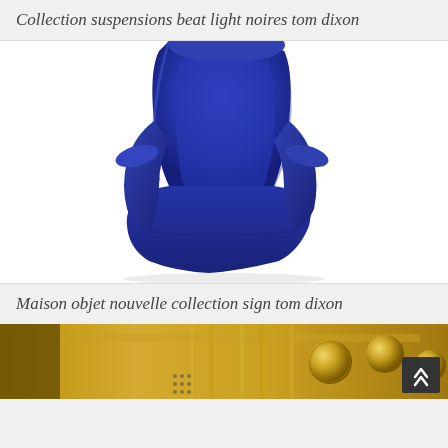Collection suspensions beat light noires tom dixon
[Figure (photo): Close-up photo of a modern deep blue/royal blue upholstered wingback armchair, showing the seat, armrest, and upper back in detail against a white background.]
Maison objet nouvelle collection sign tom dixon
[Figure (photo): Partial view of a decorative golden/brass interior detail with ornate hardware elements, partially visible at the bottom of the page.]